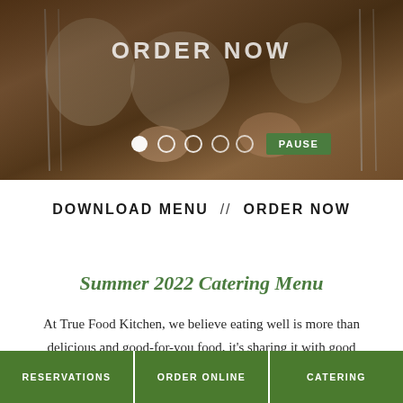[Figure (photo): Hero banner showing a catering table setting with plates, glasses, cutlery on a wooden table with hands reaching across. Overlaid text reads 'ORDER NOW' with slideshow controls and a PAUSE button.]
DOWNLOAD MENU  //  ORDER NOW
Summer 2022 Catering Menu
At True Food Kitchen, we believe eating well is more than delicious and good-for-you food, it's sharing it with good
RESERVATIONS  |  ORDER ONLINE  |  CATERING